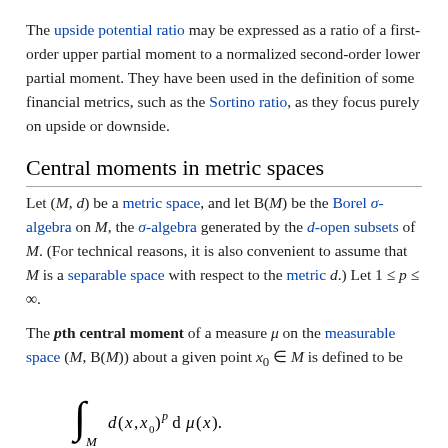The upside potential ratio may be expressed as a ratio of a first-order upper partial moment to a normalized second-order lower partial moment. They have been used in the definition of some financial metrics, such as the Sortino ratio, as they focus purely on upside or downside.
Central moments in metric spaces
Let (M, d) be a metric space, and let B(M) be the Borel σ-algebra on M, the σ-algebra generated by the d-open subsets of M. (For technical reasons, it is also convenient to assume that M is a separable space with respect to the metric d.) Let 1 ≤ p ≤ ∞.
The pth central moment of a measure μ on the measurable space (M, B(M)) about a given point x₀ ∈ M is defined to be
μ is said to have finite p-th central moment if the p-th central moment of μ about x₀ is finite for some x₀ ∈ M.
This terminology for measures carries over to random variables in